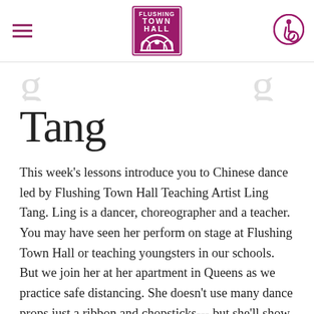Flushing Town Hall
Tang
This week's lessons introduce you to Chinese dance led by Flushing Town Hall Teaching Artist Ling Tang. Ling is a dancer, choreographer and a teacher. You may have seen her perform on stage at Flushing Town Hall or teaching youngsters in our schools. But we join her at her apartment in Queens as we practice safe distancing. She doesn't use many dance props just a ribbon and chopsticks--- but she'll show you how to improvise with what you have.